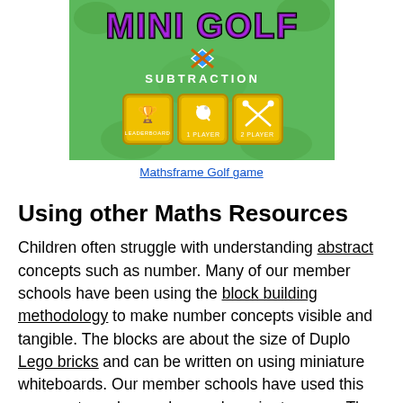[Figure (screenshot): Screenshot of Mathsframe Mini Golf Subtraction game showing the game title 'MINI GOLF SUBTRACTION' on a green background with three yellow button options: Leaderboard, 1 Player, 2 Player]
Mathsframe Golf game
Using other Maths Resources
Children often struggle with understanding abstract concepts such as number. Many of our member schools have been using the block building methodology to make number concepts visible and tangible. The blocks are about the size of Duplo Lego bricks and can be written on using miniature whiteboards. Our member schools have used this process to make number work easier to grasp. The colours can be used to highlight